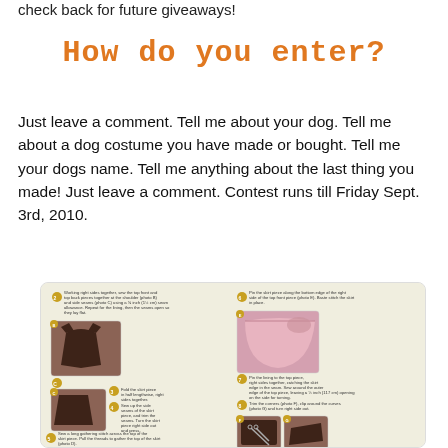check back for future giveaways!
How do you enter?
Just leave a comment. Tell me about your dog. Tell me about a dog costume you have made or bought. Tell me your dogs name. Tell me anything about the last thing you made! Just leave a comment. Contest runs till Friday Sept. 3rd, 2010.
[Figure (illustration): Sewing instruction steps showing how to assemble a dog costume, with photos of fabric pieces (dark brown/chocolate fabric top and skirt pieces, pink satin skirt) and step-by-step text instructions numbered with circular bullet icons.]